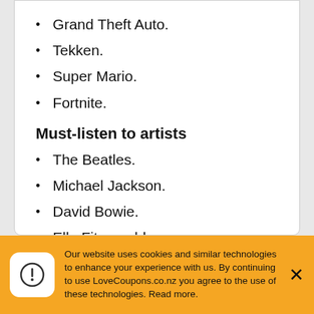Grand Theft Auto.
Tekken.
Super Mario.
Fortnite.
Must-listen to artists
The Beatles.
Michael Jackson.
David Bowie.
Ella Fitzgerald.
Marvin Gaye.
Our website uses cookies and similar technologies to enhance your experience with us. By continuing to use LoveCoupons.co.nz you agree to the use of these technologies. Read more.